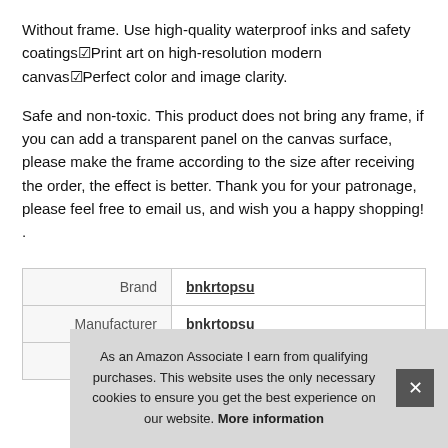Without frame. Use high-quality waterproof inks and safety coatings☑Print art on high-resolution modern canvas☑Perfect color and image clarity.
Safe and non-toxic. This product does not bring any frame, if you can add a transparent panel on the canvas surface, please make the frame according to the size after receiving the order, the effect is better. Thank you for your patronage, please feel free to email us, and wish you a happy shopping! .
|  |  |
| --- | --- |
| Brand | bnkrtopsu |
| Manufacturer | bnkrtopsu |
| P |  |
As an Amazon Associate I earn from qualifying purchases. This website uses the only necessary cookies to ensure you get the best experience on our website. More information